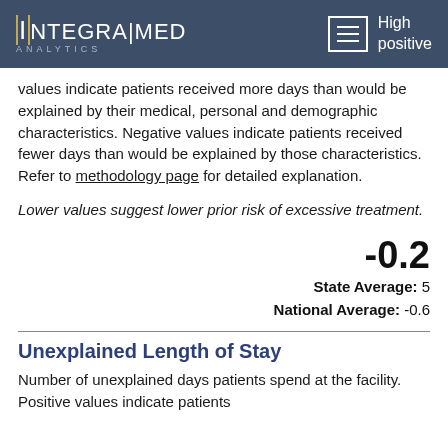IntegraMed Analytics [menu] High positive values indicate patients received more days than would be explained by their medical, personal and demographic characteristics. Negative values indicate patients received fewer days than would be explained by those characteristics. Refer to methodology page for detailed explanation.
High positive values indicate patients received more days than would be explained by their medical, personal and demographic characteristics. Negative values indicate patients received fewer days than would be explained by those characteristics. Refer to methodology page for detailed explanation.
Lower values suggest lower prior risk of excessive treatment.
-0.2
State Average: 5
National Average: -0.6
Unexplained Length of Stay
Number of unexplained days patients spend at the facility. Positive values indicate patients